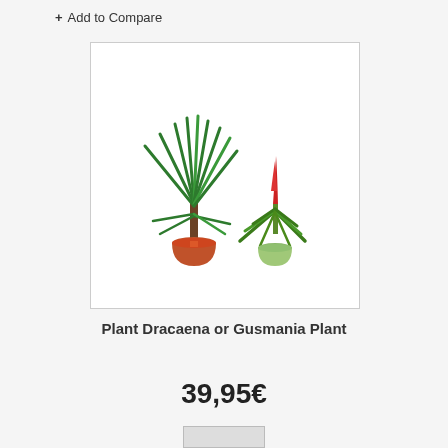+ Add to Compare
[Figure (photo): Two potted plants side by side: a tall Dracaena plant with long green leaves in a decorative red-wrapped pot on the left, and a Gusmania bromeliad plant with a red flower spike in a small green pot on the right.]
Plant Dracaena or Gusmania Plant
39,95€